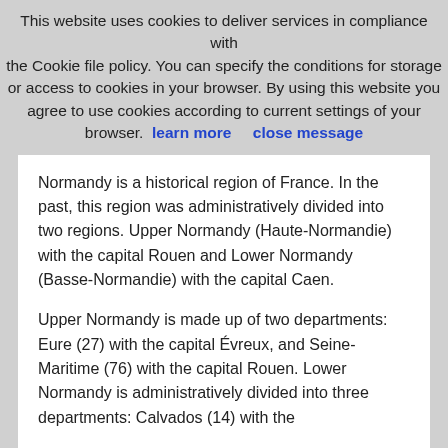This website uses cookies to deliver services in compliance with the Cookie file policy. You can specify the conditions for storage or access to cookies in your browser. By using this website you agree to use cookies according to current settings of your browser. learn more   close message
Normandy is a historical region of France. In the past, this region was administratively divided into two regions. Upper Normandy (Haute-Normandie) with the capital Rouen and Lower Normandy (Basse-Normandie) with the capital Caen.
Upper Normandy is made up of two departments: Eure (27) with the capital Évreux, and Seine-Maritime (76) with the capital Rouen. Lower Normandy is administratively divided into three departments: Calvados (14) with the